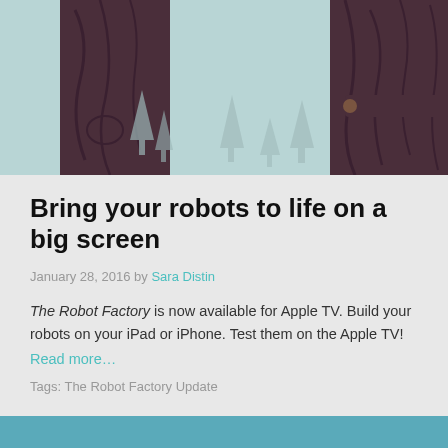[Figure (illustration): Stylized game illustration showing dark brown tree trunks with wood grain texture, light teal/mint sky background, small grey pine tree silhouettes in the distance, and a horizontal brown log/branch element on the right side.]
Bring your robots to life on a big screen
January 28, 2016 by Sara Distin
The Robot Factory is now available for Apple TV. Build your robots on your iPad or iPhone. Test them on the Apple TV!
Read more…
Tags: The Robot Factory Update